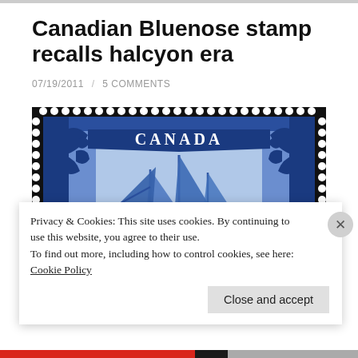Canadian Bluenose stamp recalls halcyon era
07/19/2011  /  5 COMMENTS
[Figure (photo): Canadian Bluenose postage stamp showing a sailing schooner with three masts, decorative borders, CANADA text at top, POSTES on left and POST on right]
Privacy & Cookies: This site uses cookies. By continuing to use this website, you agree to their use.
To find out more, including how to control cookies, see here: Cookie Policy
Close and accept